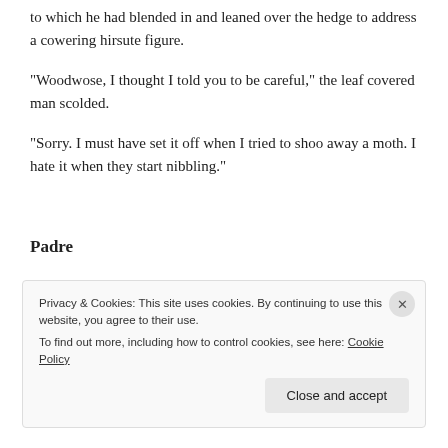to which he had blended in and leaned over the hedge to address a cowering hirsute figure.
“Woodwose, I thought I told you to be careful,” the leaf covered man scolded.
“Sorry.  I must have set it off when I tried to shoo away a moth.  I hate it when they start nibbling.”
Padre
Privacy & Cookies: This site uses cookies. By continuing to use this website, you agree to their use.
To find out more, including how to control cookies, see here: Cookie Policy
Close and accept